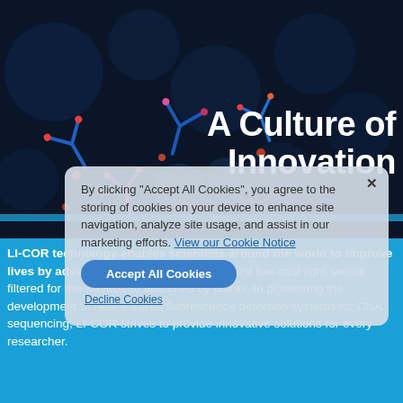[Figure (illustration): Dark background with scientific microscopy imagery showing antibody Y-shapes in blue and magenta/orange colors against a dark blue background with circular cell-like structures]
A Culture of Innovation
[Figure (screenshot): Cookie consent overlay dialog with close X button, text about accepting cookies, Accept All Cookies button, and Decline Cookies link]
LI-COR technology enables scientists around the world to improve lives by advancing discovery. From the first low-cost light sensor filtered for the waveband absorbed by plants, to pioneering the development of near-infrared fluorescence detection systems for DNA sequencing, LI-COR strives to provide innovative solutions for every researcher.